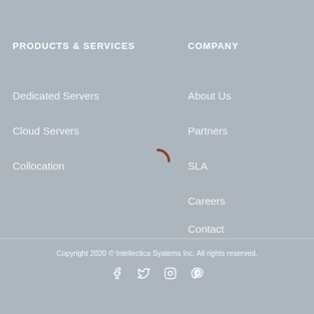PRODUCTS & SERVICES
Dedicated Servers
Cloud Servers
Collocation
COMPANY
About Us
Partners
SLA
Careers
Contact
[Figure (other): Loading spinner arc in dark red/brown color]
Copyright 2020 © Intellectica Systems Inc. All rights reserved.